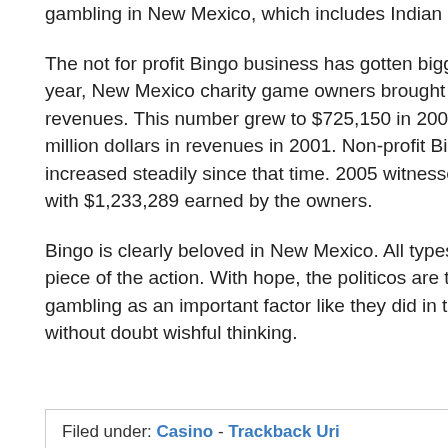gambling in New Mexico, which includes Indian casino Bingo.
The not for profit Bingo business has gotten bigger from 1999. That year, New Mexico charity game owners brought in only $3,048 in revenues. This number grew to $725,150 in 2000, and passed a million dollars in revenues in 2001. Non-profit Bingo earnings have increased steadily since that time. 2005 witnessed the biggest year, with $1,233,289 earned by the owners.
Bingo is clearly beloved in New Mexico. All types of operators try for a piece of the action. With hope, the politicos are through batting over gambling as an important factor like they did in the 90's. That is without doubt wishful thinking.
Filed under: Casino - Trackback Uri